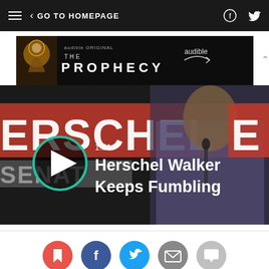GO TO HOMEPAGE
[Figure (photo): Audible Original 'The Prophecy' advertisement banner]
[Figure (screenshot): Video thumbnail showing Herschel Walker at a podium with text overlay '1:51 Herschel Walker Keeps Fumbling' and a teal play button circle on the left]
[Figure (infographic): Social sharing buttons row: bookmark (red), Facebook (blue), Twitter (light blue), email (grey), comment (light grey)]
Michael McAuliff
Senior Congressional Reporter, HuffPost